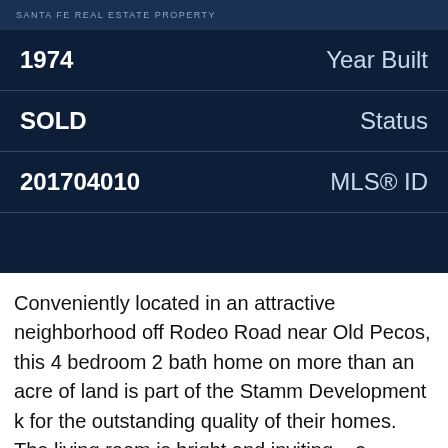SANTA FE REAL ESTATE PROPERTY
| Value | Label |
| --- | --- |
| 1974 | Year Built |
| SOLD | Status |
| 201704010 | MLS® ID |
Conveniently located in an attractive neighborhood off Rodeo Road near Old Pecos, this 4 bedroom 2 bath home on more than an acre of land is part of the Stamm Development k for the outstanding quality of their homes. The living room is bright and inviting – a wonder' place to sit and read, or to entertain guests. T is also a den with wood paneled walls and a wood